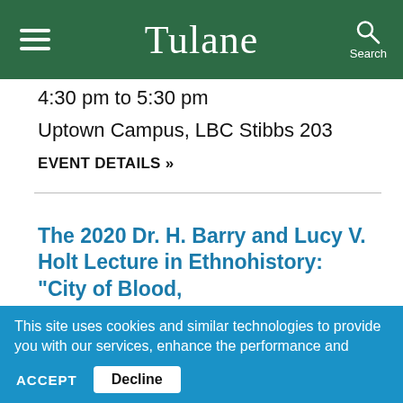Tulane
4:30 pm to 5:30 pm
Uptown Campus, LBC Stibbs 203
EVENT DETAILS »
The 2020 Dr. H. Barry and Lucy V. Holt Lecture in Ethnohistory: "City of Blood,
This site uses cookies and similar technologies to provide you with our services, enhance the performance and functionality of our services, analyze the use of our products and services, and assist with our advertising and marketing efforts.  Privacy Notice   GDPR Privacy Policy
ACCEPT   Decline